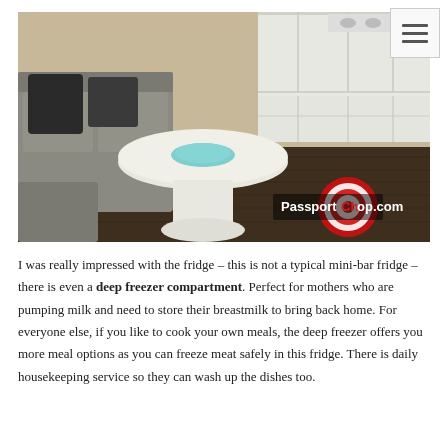[Figure (photo): Interior photo of a modern apartment living room showing a round white coffee table with a teal/blue center insert, a grey sectional sofa with dark cushions, hardwood floors, and white kitchen cabinetry in the background. A PassportChop.com watermark logo is visible in the bottom right corner.]
I was really impressed with the fridge – this is not a typical mini-bar fridge – there is even a deep freezer compartment. Perfect for mothers who are pumping milk and need to store their breastmilk to bring back home. For everyone else, if you like to cook your own meals, the deep freezer offers you more meal options as you can freeze meat safely in this fridge. There is daily housekeeping service so they can wash up the dishes too.